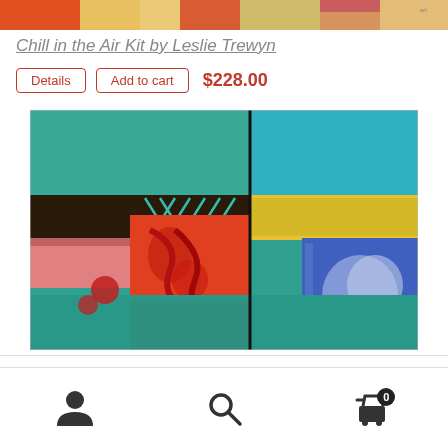[Figure (photo): Top cropped portion of colorful abstract artwork]
Chill in the Air Kit by Leslie Trewyn
Details | Add to cart  $228.00
[Figure (photo): Abstract painting with teal, red, orange, yellow, and blue colorful sections divided by a black vertical line]
User icon | Search icon | Cart icon with badge 0